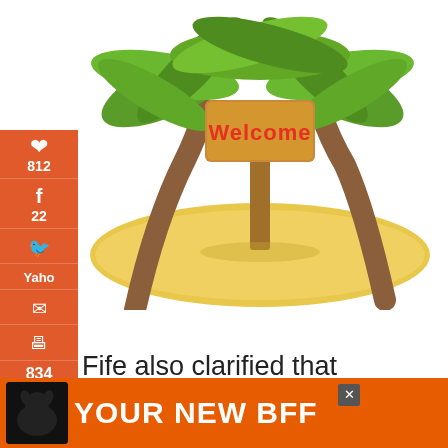[Figure (illustration): Tropical island welcome scene with palm trees and a wooden 'Welcome' sign on sandy island]
[Figure (screenshot): Social media sharing sidebar with Pinterest (812), Facebook (22), Twitter, Yahoo, Email, Print icons on orange background]
Fife also clarified that average chain triglycerides convert into antimicrobial means within your digestive tract. When consumed, coconut oil's anti-microbial properties become activated after
[Figure (infographic): Bottom advertisement bar with dog image and text 'YOUR NEW BFF' on orange background with close button]
834 SHARES
[Figure (screenshot): Right side share widget showing heart icon (836) and share button]
[Figure (screenshot): What's Next widget showing 'Coconut Oil for Thyroid...' with thumbnail]